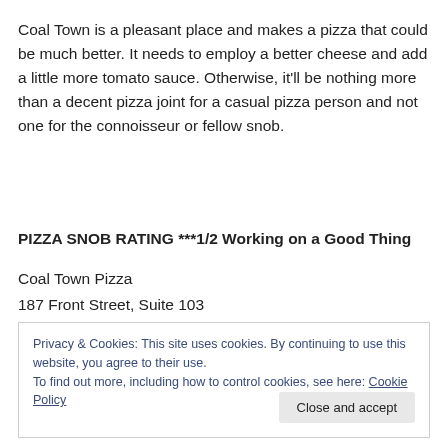Coal Town is a pleasant place and makes a pizza that could be much better. It needs to employ a better cheese and add a little more tomato sauce. Otherwise, it’ll be nothing more than a decent pizza joint for a casual pizza person and not one for the connoisseur or fellow snob.
PIZZA SNOB RATING ***1/2 Working on a Good Thing
Coal Town Pizza
187 Front Street, Suite 103
Privacy & Cookies: This site uses cookies. By continuing to use this website, you agree to their use.
To find out more, including how to control cookies, see here: Cookie Policy